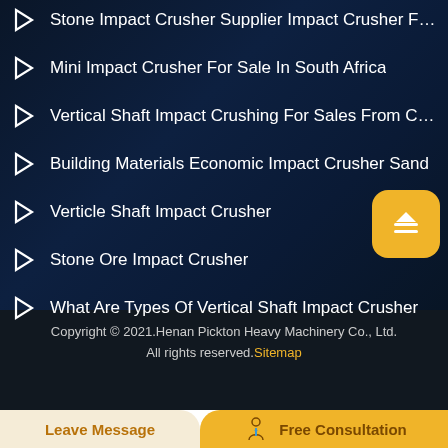Stone Impact Crusher Supplier Impact Crusher Factory Mach...
Mini Impact Crusher For Sale In South Africa
Vertical Shaft Impact Crushing For Sales From China
Building Materials Economic Impact Crusher Sand
Verticle Shaft Impact Crusher
Stone Ore Impact Crusher
What Are Types Of Vertical Shaft Impact Crusher
Copyright © 2021.Henan Pickton Heavy Machinery Co., Ltd. All rights reserved.Sitemap
Leave Message
Free Consultation